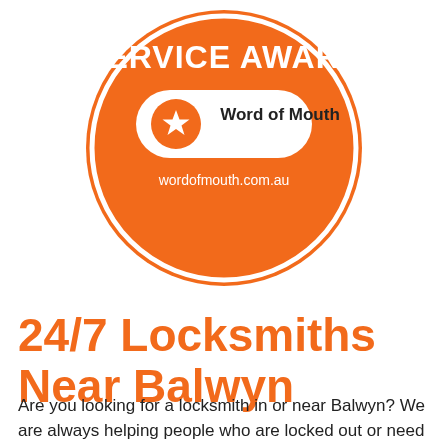[Figure (logo): Orange circular Service Award badge from Word of Mouth (wordofmouth.com.au) with a white star in a speech bubble logo and white text reading SERVICE AWARD]
24/7 Locksmiths Near Balwyn
Are you looking for a locksmith in or near Balwyn? We are always helping people who are locked out or need rekeying services in and around Balwyn. We offer our support in surrounding areas such as Kew, Doncaster, Auburn...